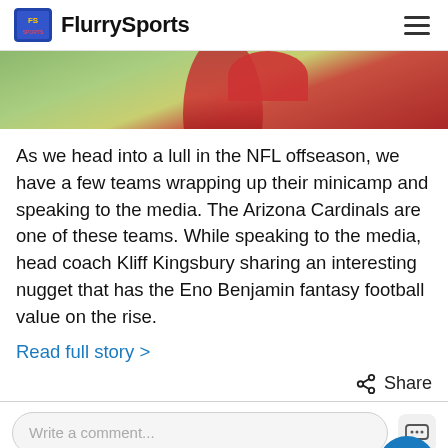FlurrySports
[Figure (photo): A partial image showing a football player in a red Cardinals jersey against a green field background.]
As we head into a lull in the NFL offseason, we have a few teams wrapping up their minicamp and speaking to the media. The Arizona Cardinals are one of these teams. While speaking to the media, head coach Kliff Kingsbury sharing an interesting nugget that has the Eno Benjamin fantasy football value on the rise.
Read full story >
Share
Write a comment...